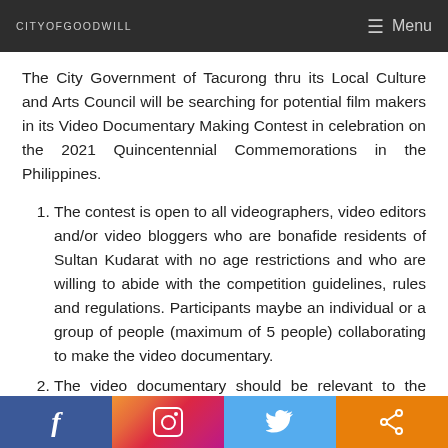CITYOFGOODWILL | Menu
The City Government of Tacurong thru its Local Culture and Arts Council will be searching for potential film makers in its Video Documentary Making Contest in celebration on the 2021 Quincentennial Commemorations in the Philippines.
The contest is open to all videographers, video editors and/or video bloggers who are bonafide residents of Sultan Kudarat with no age restrictions and who are willing to abide with the competition guidelines, rules and regulations. Participants maybe an individual or a group of people (maximum of 5 people) collaborating to make the video documentary.
The video documentary should be relevant to the 2021 Quincentennial Commemorations in the Philippines. It